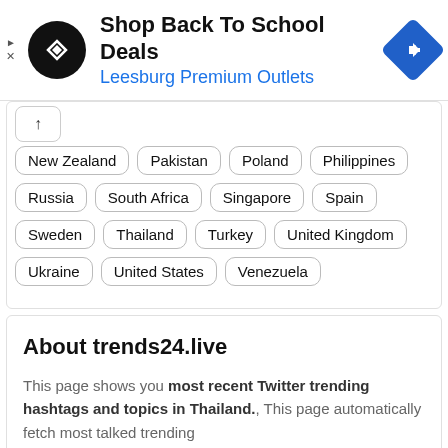[Figure (other): Advertisement banner for 'Shop Back To School Deals' at Leesburg Premium Outlets with a circular black logo and blue diamond navigation icon]
New Zealand
Pakistan
Poland
Philippines
Russia
South Africa
Singapore
Spain
Sweden
Thailand
Turkey
United Kingdom
Ukraine
United States
Venezuela
About trends24.live
This page shows you most recent Twitter trending hashtags and topics in Thailand.. This page automatically fetch most talked trending